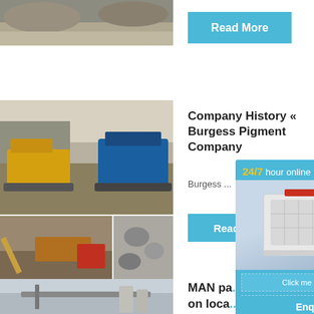[Figure (photo): Aerial view of mining/quarry site with gravel piles and machinery]
[Figure (other): Read More button in blue]
[Figure (photo): Mining machinery in quarry - yellow excavator and blue machinery on dirt ground]
[Figure (photo): Mining/crushing equipment with conveyor belts and rock piles]
Company History « Burgess Pigment Company
Burgess ...
[Figure (other): Read button in blue]
[Figure (photo): Conveyor belt and industrial silos at construction/mining site]
MAN pa... C on loca... sourci...
[Figure (infographic): Popup overlay with 24/7 hour online text, mining machine illustration, chat button, Click me to chat>> button, Enquiry button, and limingjlmofen text]